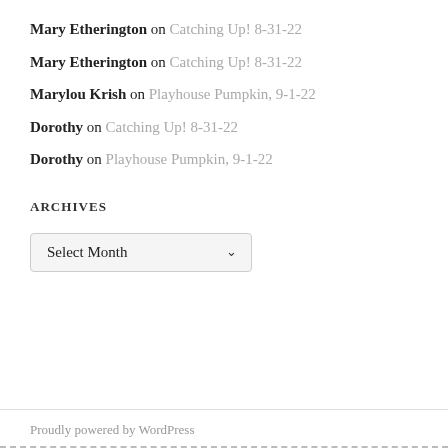Mary Etherington on Catching Up! 8-31-22
Mary Etherington on Catching Up! 8-31-22
Marylou Krish on Playhouse Pumpkin, 9-1-22
Dorothy on Catching Up! 8-31-22
Dorothy on Playhouse Pumpkin, 9-1-22
ARCHIVES
Select Month
Proudly powered by WordPress